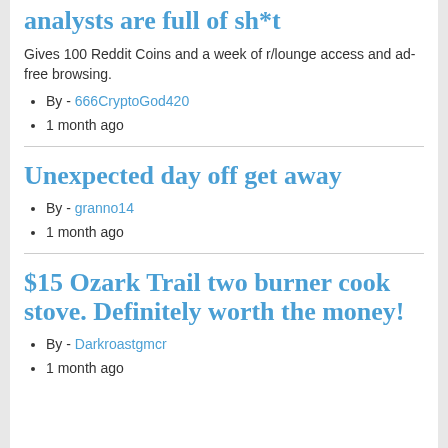analysts are full of sh*t
Gives 100 Reddit Coins and a week of r/lounge access and ad-free browsing.
By - 666CryptoGod420
1 month ago
Unexpected day off get away
By - granno14
1 month ago
$15 Ozark Trail two burner cook stove. Definitely worth the money!
By - Darkroastgmcr
1 month ago